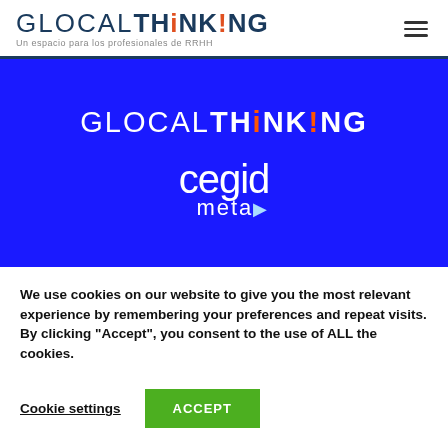GLOCALTHINKING - Un espacio para los profesionales de RRHH
[Figure (logo): GLOCALTHINKING and cegid meta logos on blue background banner]
We use cookies on our website to give you the most relevant experience by remembering your preferences and repeat visits. By clicking “Accept”, you consent to the use of ALL the cookies.
Cookie settings | ACCEPT